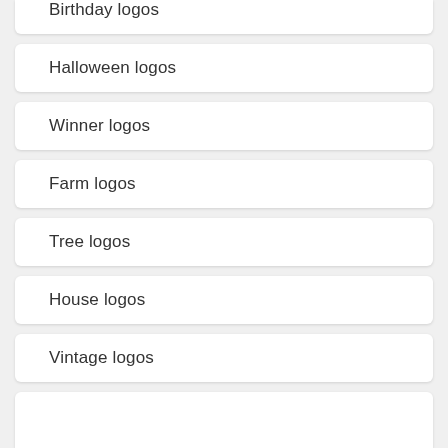Birthday logos
Halloween logos
Winner logos
Farm logos
Tree logos
House logos
Vintage logos